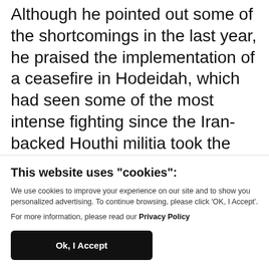Although he pointed out some of the shortcomings in the last year, he praised the implementation of a ceasefire in Hodeidah, which had seen some of the most intense fighting since the Iran-backed Houthi militia took the capital Sanaa from the UN-recognized government in 2014.
This website uses "cookies":
We use cookies to improve your experience on our site and to show you personalized advertising. To continue browsing, please click ‘OK, I Accept’.
For more information, please read our Privacy Policy
Ok, I Accept